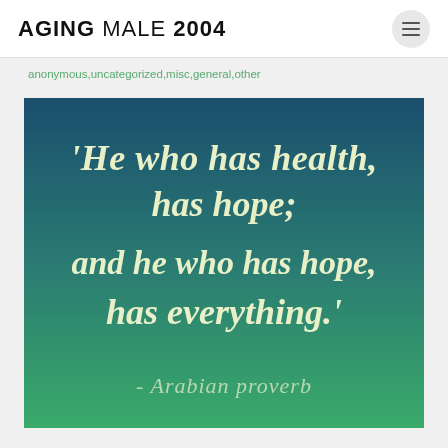AGING MALE 2004
anonymous,uncategorized,misc,general,other
[Figure (illustration): Inspirational quote image with gradient background from dark teal to green. Large script text reads: 'He who has health, has hope; and he who has hope, has everything.' Attribution reads: - Arabian proverb]